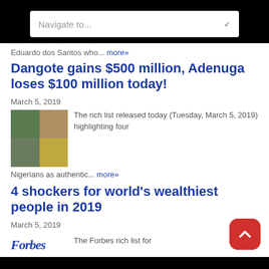Navigate to...
Eduardo dos Santos who... more»
Dangote gains $500 million, Adenuga loses $100 million today!
March 5, 2019
[Figure (photo): Collage of four portrait photos in a 2x2 grid]
The rich list released today (Tuesday, March 5, 2019) highlighting four Nigerians as authentic... more»
4 shockers for world's wealthiest people in 2019
March 5, 2019
The Forbes rich list for